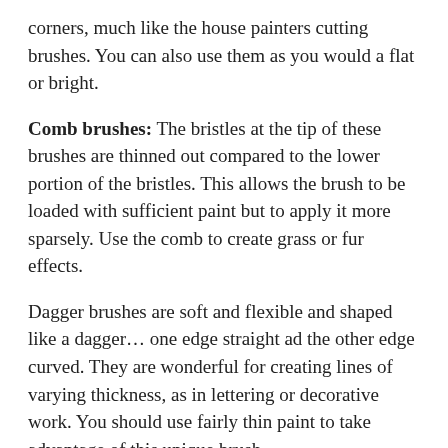corners, much like the house painters cutting brushes. You can also use them as you would a flat or bright.
Comb brushes: The bristles at the tip of these brushes are thinned out compared to the lower portion of the bristles. This allows the brush to be loaded with sufficient paint but to apply it more sparsely. Use the comb to create grass or fur effects.
Dagger brushes are soft and flexible and shaped like a dagger… one edge straight ad the other edge curved. They are wonderful for creating lines of varying thickness, as in lettering or decorative work. You should use fairly thin paint to take advantage of this unique brush.
Deerfoot brushes: These brushes began their lives as rounds and then got chopped off at the end. They are terrific brushes for creating leaves, shrubs and anything also that has a repetitive round or oval pattern. Use by